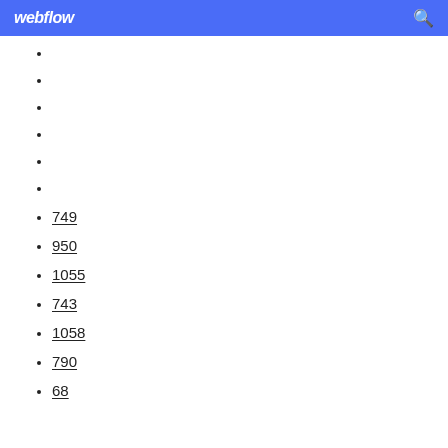webflow
749
950
1055
743
1058
790
68